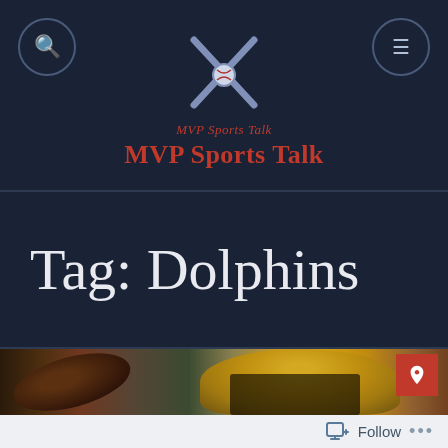MVP Sports Talk — MVP Sports Talk
Tag: Dolphins
[Figure (photo): Football player wearing a Green Bay Packers yellow helmet with a football in the foreground]
Follow